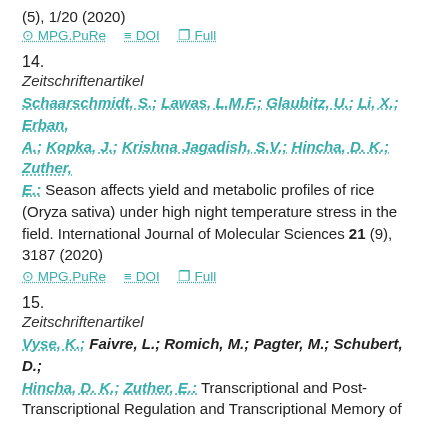(5), 1/20 (2020)
⊘ MPG.PuRe  ≣ DOI  ▣ Full
14.
Zeitschriftenartikel
Schaarschmidt, S.; Lawas, L.M.F.; Glaubitz, U.; Li, X.; Erban, A.; Kopka, J.; Krishna Jagadish, S.V.; Hincha, D. K.; Zuther, E.: Season affects yield and metabolic profiles of rice (Oryza sativa) under high night temperature stress in the field. International Journal of Molecular Sciences 21 (9), 3187 (2020)
⊘ MPG.PuRe  ≣ DOI  ▣ Full
15.
Zeitschriftenartikel
Vyse, K.; Faivre, L.; Romich, M.; Pagter, M.; Schubert, D.; Hincha, D. K.; Zuther, E.: Transcriptional and Post-Transcriptional Regulation and Transcriptional Memory of